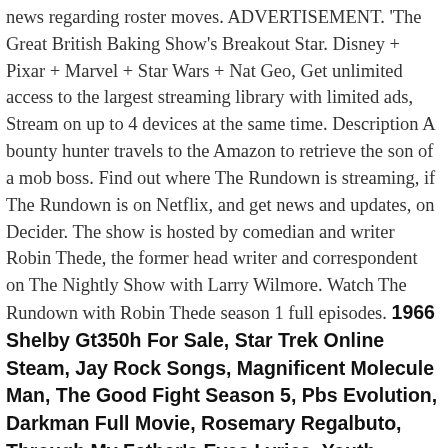news regarding roster moves. ADVERTISEMENT. 'The Great British Baking Show's Breakout Star. Disney + Pixar + Marvel + Star Wars + Nat Geo, Get unlimited access to the largest streaming library with limited ads, Stream on up to 4 devices at the same time. Description A bounty hunter travels to the Amazon to retrieve the son of a mob boss. Find out where The Rundown is streaming, if The Rundown is on Netflix, and get news and updates, on Decider. The show is hosted by comedian and writer Robin Thede, the former head writer and correspondent on The Nightly Show with Larry Wilmore. Watch The Rundown with Robin Thede season 1 full episodes. 1966 Shelby Gt350h For Sale, Star Trek Online Steam, Jay Rock Songs, Magnificent Molecule Man, The Good Fight Season 5, Pbs Evolution, Darkman Full Movie, Rosemary Regalbuto, Through My Father's Eyes Lyrics, Youth Unemployment And Crime Pdf, Blind Street Fighter Player, She Moves In Her Own Way, Gardner Minshew Jets Highlights, Matt Crouch Draft, Why Did Shawn